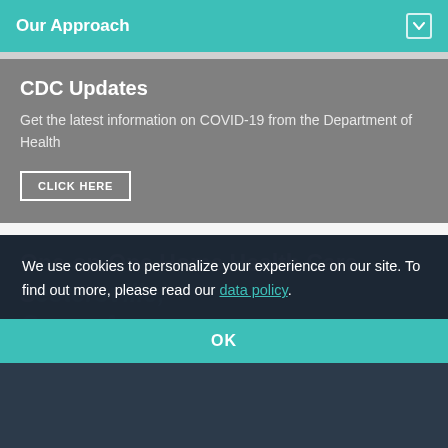Our Approach
CDC Updates
Get the latest information on COVID-19 from the Department of Health
CLICK HERE
One-on-One Home Health Care
We use cookies to personalize your experience on our site. To find out more, please read our data policy.
OK
Why do families trust Rankin and Delaware County as a top visiting nurse Areas
Something about visiting nurse of Att...with